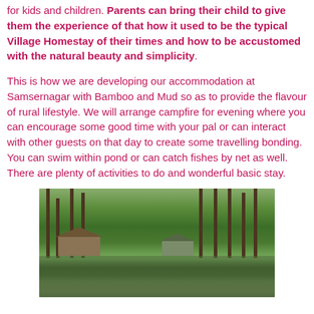for kids and children. Parents can bring their child to give them the experience of that how it used to be the typical Village Homestay of their times and how to be accustomed with the natural beauty and simplicity.
This is how we are developing our accommodation at Samsernagar with Bamboo and Mud so as to provide the flavour of rural lifestyle. We will arrange campfire for evening where you can encourage some good time with your pal or can interact with other guests on that day to create some travelling bonding. You can swim within pond or can catch fishes by net as well. There are plenty of activities to do and wonderful basic stay.
[Figure (photo): A rural village homestay scene showing huts and buildings with thatched roofs surrounded by lush green trees, reflected in a pond or water body below.]